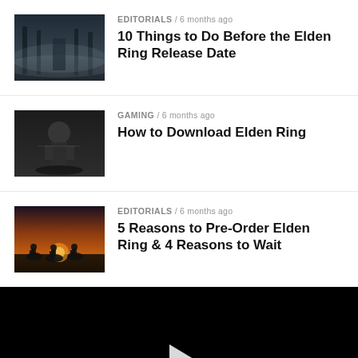[Figure (screenshot): Thumbnail image for Elden Ring article 1 - dark misty scene]
EDITORIALS / 6 months ago
10 Things to Do Before the Elden Ring Release Date
[Figure (screenshot): Thumbnail image for Elden Ring article 2 - dark warrior scene]
GAMING / 6 months ago
How to Download Elden Ring
[Figure (screenshot): Thumbnail image for Elden Ring article 3 - sunset horsemen scene]
EDITORIALS / 6 months ago
5 Reasons to Pre-Order Elden Ring & 4 Reasons to Wait
[Figure (screenshot): Black video player area with play button]